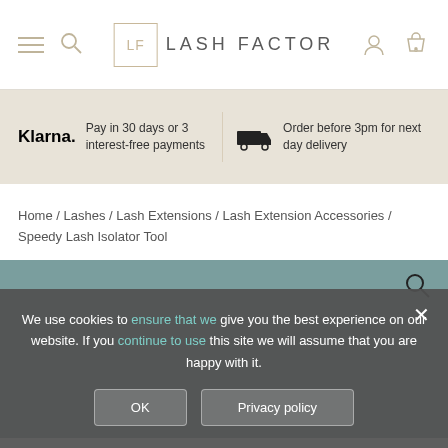[Figure (screenshot): Lash Factor website header with hamburger menu, search icon, LF logo, user icon, and cart icon with 0]
Klarna. Pay in 30 days or 3 interest-free payments
Order before 3pm for next day delivery
Home / Lashes / Lash Extensions / Lash Extension Accessories / Speedy Lash Isolator Tool
We use cookies to ensure that we give you the best experience on our website. If you continue to use this site we will assume that you are happy with it.